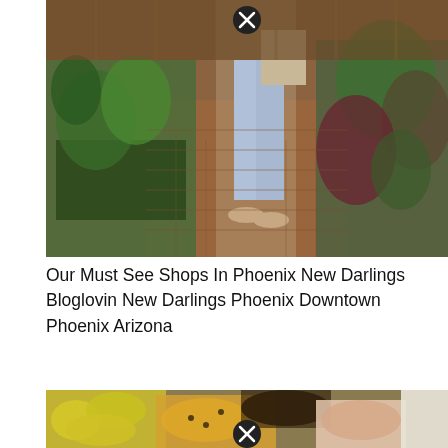[Figure (photo): Person standing in a plant nursery/garden shop with cacti and tropical plants on brick pavement, wearing light jeans and beige flats, carrying a beige backpack. A close icon (X in circle) appears at the top center.]
Our Must See Shops In Phoenix New Darlings Bloglovin New Darlings Phoenix Downtown Phoenix Arizona
[Figure (photo): Close-up of tropical fruits including bananas, papaya slices, and dishes of food including a bowl of dark beans, colorful salad, and white rice on a table. A close icon (X in circle) appears at the bottom center.]